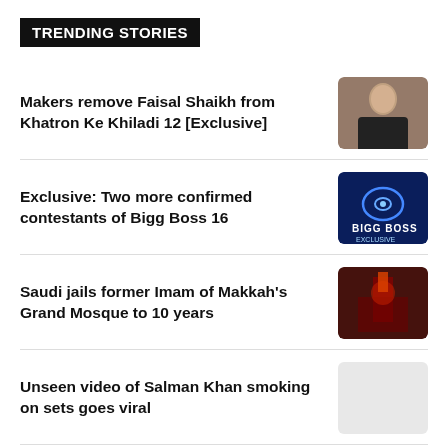TRENDING STORIES
Makers remove Faisal Shaikh from Khatron Ke Khiladi 12 [Exclusive]
Exclusive: Two more confirmed contestants of Bigg Boss 16
Saudi jails former Imam of Makkah's Grand Mosque to 10 years
Unseen video of Salman Khan smoking on sets goes viral
Bigg Boss 16: Names of 5 more contestants [Exclusive]